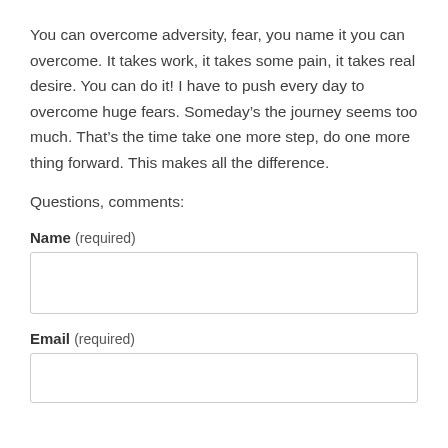You can overcome adversity, fear, you name it you can overcome. It takes work, it takes some pain, it takes real desire. You can do it! I have to push every day to overcome huge fears. Someday’s the journey seems too much. That’s the time take one more step, do one more thing forward. This makes all the difference.
Questions, comments:
Name (required)
Email (required)